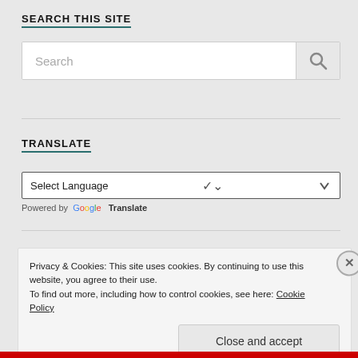SEARCH THIS SITE
[Figure (screenshot): Search input box with magnifying glass icon button on right]
TRANSLATE
[Figure (screenshot): Select Language dropdown with chevron arrow]
Powered by Google Translate
Privacy & Cookies: This site uses cookies. By continuing to use this website, you agree to their use.
To find out more, including how to control cookies, see here: Cookie Policy
Close and accept